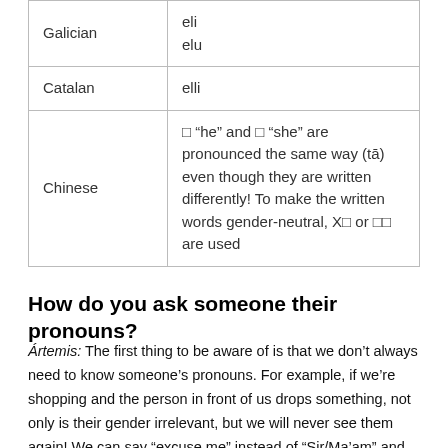| Language | Pronoun |
| --- | --- |
| Galician | eli
elu |
| Catalan | elli |
| Chinese | � "he" and � "she" are pronounced the same way (tā) even though they are written differently! To make the written words gender-neutral, X� or TA are used |
How do you ask someone their pronouns?
Ártemis: The first thing to be aware of is that we don't always need to know someone's pronouns. For example, if we're shopping and the person in front of us drops something, not only is their gender irrelevant, but we will never see them again! We can say "excuse me" instead of "Sir/Ma'am" and